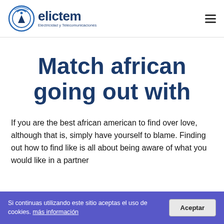[Figure (logo): Elictem logo with circular antenna/signal icon and text 'elictem Electricidad y Telecomunicaciones']
Match african going out with
If you are looking for african american to find love, although that is, simply have yourself to blame. Finding out how to find like is all about being aware of what you would like in a partner
Si continuas utilizando este sitio aceptas el uso de cookies. más información  [Aceptar]